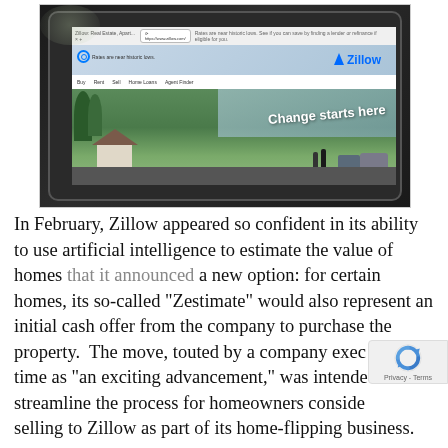[Figure (photo): A tablet computer displaying the Zillow real estate website. The screen shows the Zillow homepage with a browser address bar, the Zillow logo, navigation links (Buy, Rent, Sell, Home Loans, Agent Finder), and a hero image with text 'Change starts here' over a neighborhood/outdoor scene.]
In February, Zillow appeared so confident in its ability to use artificial intelligence to estimate the value of homes that it announced a new option: for certain homes, its so-called "Zestimate" would also represent an initial cash offer from the company to purchase the property.  The move, touted by a company exec at the time as "an exciting advancement," was intended to streamline the process for homeowners considering selling to Zillow as part of its home-flipping business.